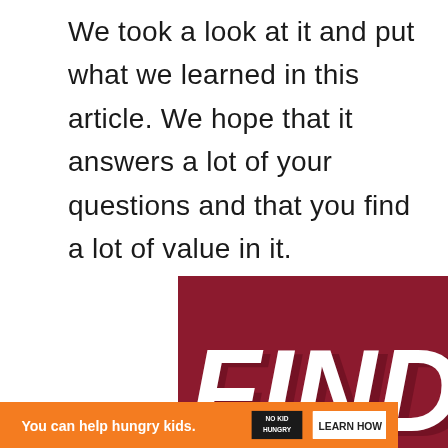We took a look at it and put what we learned in this article. We hope that it answers a lot of your questions and that you find a lot of value in it.
[Figure (illustration): Advertisement banner showing a dark red background with large white italic text reading 'FIND THE ONE' partially visible, a brindle dog (puppy) in the foreground, and a white heart outline in the upper right area. A blue X close button is in the top right corner.]
[Figure (other): Bottom advertisement bar in orange with text 'You can help hungry kids.' followed by 'NO KID HUNGRY' logo and a 'LEARN HOW' button. A dark bar on the right with a 'W' logo.]